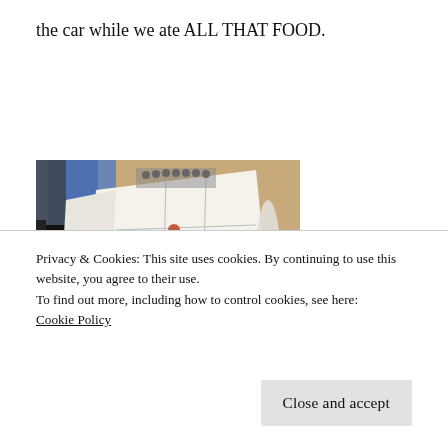the car while we ate ALL THAT FOOD.
[Figure (photo): Photo of an open notebook or calendar with food stains (reddish-brown drops) on its white pages, lying on a wooden floor. Blue folders visible in background.]
Privacy & Cookies: This site uses cookies. By continuing to use this website, you agree to their use.
To find out more, including how to control cookies, see here:
Cookie Policy
Close and accept